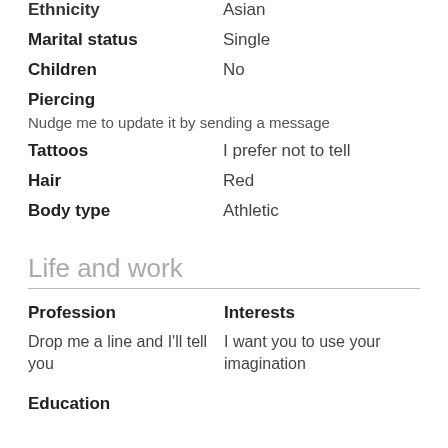Ethnicity   Asian
Marital status   Single
Children   No
Piercing
Nudge me to update it by sending a message
Tattoos   I prefer not to tell
Hair   Red
Body type   Athletic
Life and work
Profession
Drop me a line and I'll tell you
Interests
I want you to use your imagination
Education